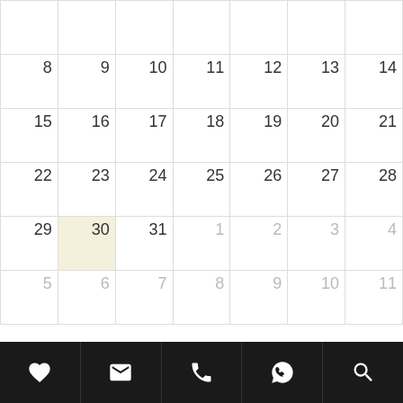|  |  |  |  |  |  |  |
| 8 | 9 | 10 | 11 | 12 | 13 | 14 |
| 15 | 16 | 17 | 18 | 19 | 20 | 21 |
| 22 | 23 | 24 | 25 | 26 | 27 | 28 |
| 29 | 30 | 31 | 1 | 2 | 3 | 4 |
| 5 | 6 | 7 | 8 | 9 | 10 | 11 |
[Figure (infographic): Bottom toolbar with 5 icons: heart (favorites), envelope (email), phone, WhatsApp/chat bubble, and search magnifier — white icons on black background]